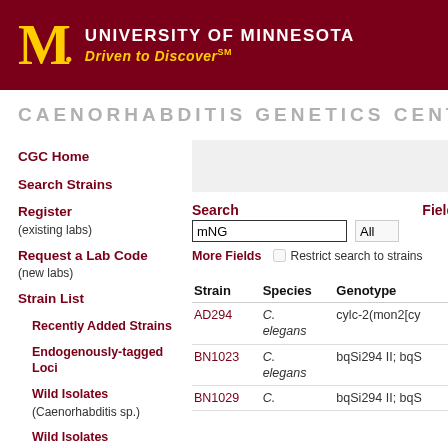University of Minnesota — Driven to Discover℠
CAENORHABDITIS GENETICS CENTER (CGC)
CGC Home
Search Strains
Register (existing labs)
Request a Lab Code (new labs)
Strain List
Recently Added Strains
Endogenously-tagged Loci
Wild Isolates (Caenorhabitis sp.)
Wild Isolates
Search: mNG   Field: All   More Fields ☐ Restrict search to strains
| Strain | Species | Genotype |
| --- | --- | --- |
| AD294 | C. elegans | cylc-2(mon2[cy... |
| BN1023 | C. elegans | bqSi294 II; bqS... |
| BN1029 | C. elegans | bqSi294 II; bqS... |